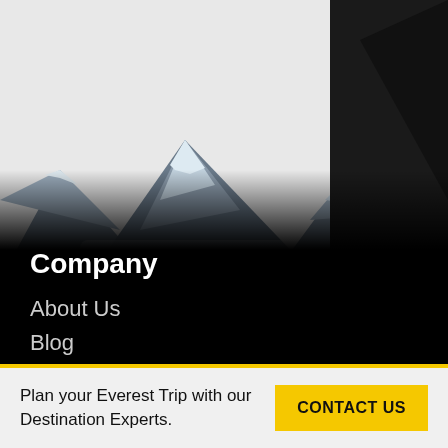[Figure (photo): Snow-capped mountain peaks (resembling Everest region) with dark silhouetted forest trees in foreground, white sky background, transitioning to black at the bottom]
Company
About Us
Blog
Plan your Everest Trip with our Destination Experts.
CONTACT US